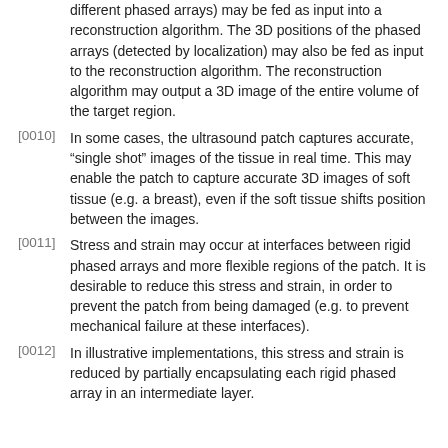different phased arrays) may be fed as input into a reconstruction algorithm. The 3D positions of the phased arrays (detected by localization) may also be fed as input to the reconstruction algorithm. The reconstruction algorithm may output a 3D image of the entire volume of the target region.
[0010] In some cases, the ultrasound patch captures accurate, "single shot" images of the tissue in real time. This may enable the patch to capture accurate 3D images of soft tissue (e.g. a breast), even if the soft tissue shifts position between the images.
[0011] Stress and strain may occur at interfaces between rigid phased arrays and more flexible regions of the patch. It is desirable to reduce this stress and strain, in order to prevent the patch from being damaged (e.g. to prevent mechanical failure at these interfaces).
[0012] In illustrative implementations, this stress and strain is reduced by partially encapsulating each rigid phased array in an intermediate layer.